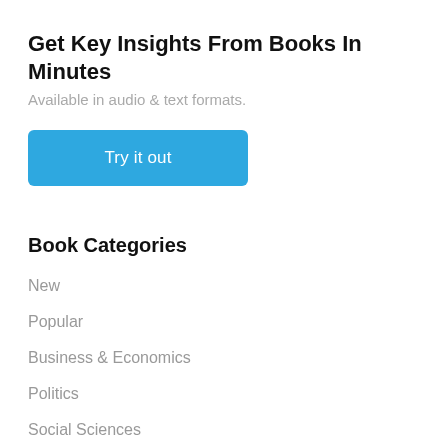Get Key Insights From Books In Minutes
Available in audio & text formats.
[Figure (other): Blue button labeled 'Try it out']
Book Categories
New
Popular
Business & Economics
Politics
Social Sciences